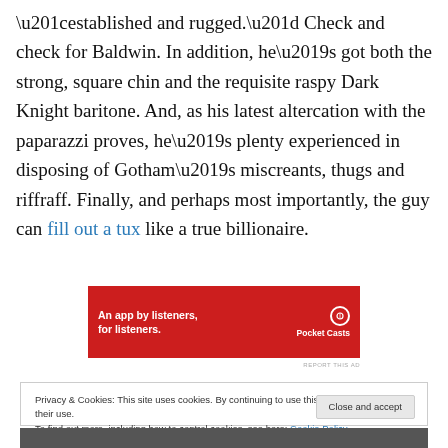“established and rugged.” Check and check for Baldwin. In addition, he’s got both the strong, square chin and the requisite raspy Dark Knight baritone. And, as his latest altercation with the paparazzi proves, he’s plenty experienced in disposing of Gotham’s miscreants, thugs and riffraff. Finally, and perhaps most importantly, the guy can fill out a tux like a true billionaire.
[Figure (other): Pocket Casts advertisement banner: red background with text 'An app by listeners, for listeners.' and Pocket Casts logo]
REPORT THIS AD
Privacy & Cookies: This site uses cookies. By continuing to use this website, you agree to their use.
To find out more, including how to control cookies, see here: Cookie Policy
Close and accept